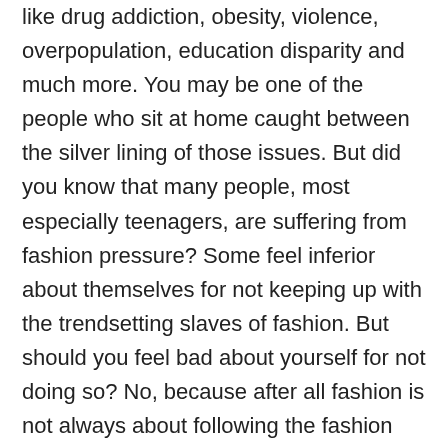like drug addiction, obesity, violence, overpopulation, education disparity and much more. You may be one of the people who sit at home caught between the silver lining of those issues. But did you know that many people, most especially teenagers, are suffering from fashion pressure? Some feel inferior about themselves for not keeping up with the trendsetting slaves of fashion. But should you feel bad about yourself for not doing so? No, because after all fashion is not always about following the fashion gods and goddesses. Fashion also about expressing yourself in ways you are comfortable.
According to Erik Erikson, a developmental theorist, finding the personal identity is at the peak of the